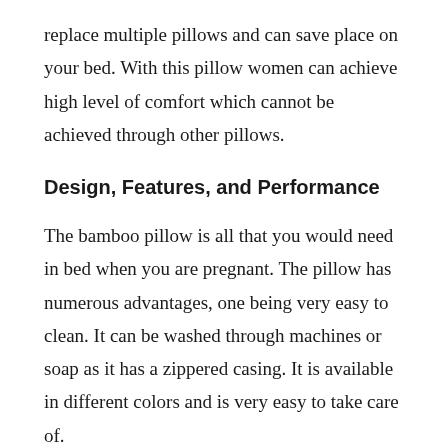replace multiple pillows and can save place on your bed. With this pillow women can achieve high level of comfort which cannot be achieved through other pillows.
Design, Features, and Performance
The bamboo pillow is all that you would need in bed when you are pregnant. The pillow has numerous advantages, one being very easy to clean. It can be washed through machines or soap as it has a zippered casing. It is available in different colors and is very easy to take care of.
This pillow is capable of giving pregnant women